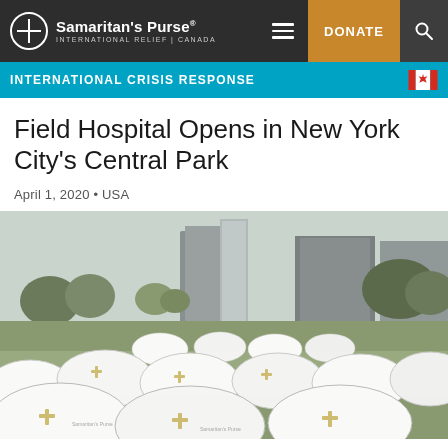Samaritan's Purse INTERNATIONAL RELIEF | CANADA
INTERNATIONAL CRISIS RESPONSE
Field Hospital Opens in New York City's Central Park
April 1, 2020 • USA
[Figure (photo): Aerial view of white medical tents set up in Central Park, New York City, with city buildings visible in the background. The tents display Samaritan's Purse logos with cross symbols.]